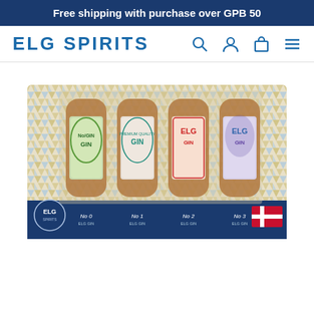Free shipping with purchase over GPB 50
ELG SPIRITS
[Figure (photo): ELG Spirits gift box set containing four miniature gin bottles labeled No.0, No.1, No.2, and No.3, in a decorative geometric patterned box with a Danish flag logo]